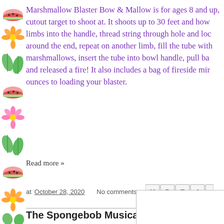[Figure (illustration): Decorative sidebar strip with colorful floral and fruit pattern (watermelon slices, flowers, leaves) on white background]
Marshmallow Blaster Bow & Mallow is for ages 8 and up, cutout target to shoot at. It shoots up to 30 feet and how limbs into the handle, thread string through hole and loc around the end, repeat on another limb, fill the tube with marshmallows, insert the tube into bowl handle, pull ba and released a fire! It also includes a bag of fireside mir ounces to loading your blaster.
Read more »
at October 28, 2020   No comments:
The Spongebob Musical: Live on Stage! Review Ends 11/16